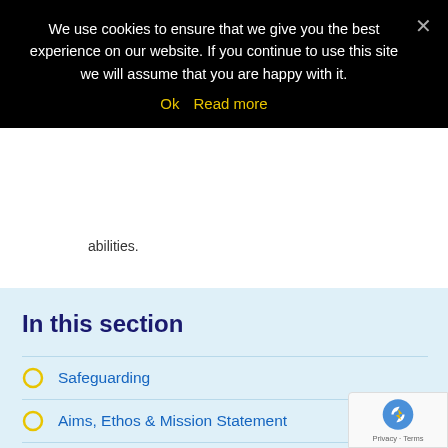We use cookies to ensure that we give you the best experience on our website. If you continue to use this site we will assume that you are happy with it.
Ok   Read more
abilities.
In this section
Safeguarding
Aims, Ethos & Mission Statement
Meet The Staff
Our Academy Council
Job Vacancies